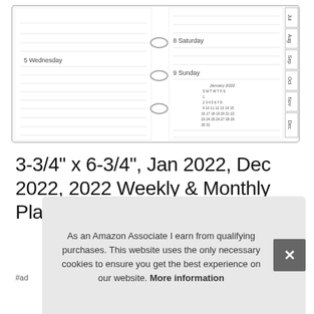[Figure (photo): A weekly/monthly planner refill product image showing open planner pages with days Wednesday 5, Saturday 8, Sunday 9, a small January 2022 calendar inset, binder rings in the center, and month tabs (Jul, Aug, Sep, Oct, Nov, Dec) on the right side.]
3-3/4" x 6-3/4", Jan 2022, Dec 2022, 2022 Weekly & Monthly Planner Refill, Personal/Size 3
#ad
As an Amazon Associate I earn from qualifying purchases. This website uses the only necessary cookies to ensure you get the best experience on our website. More information